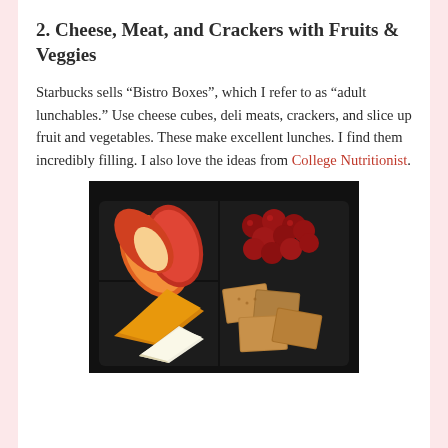2. Cheese, Meat, and Crackers with Fruits & Veggies
Starbucks sells “Bistro Boxes”, which I refer to as “adult lunchables.” Use cheese cubes, deli meats, crackers, and slice up fruit and vegetables. These make excellent lunches. I find them incredibly filling. I also love the ideas from College Nutritionist.
[Figure (photo): A dark tray/plate with cheese board items: sliced apple wedges, red grapes/cherries, orange/yellow cheese wedges, white brie-style cheese, and whole grain crackers arranged on a black background.]